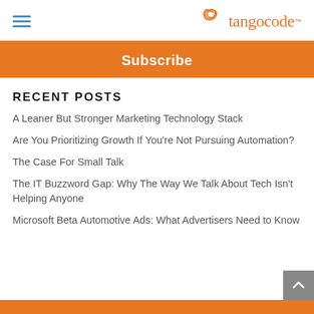tangocode
Subscribe
RECENT POSTS
A Leaner But Stronger Marketing Technology Stack
Are You Prioritizing Growth If You're Not Pursuing Automation?
The Case For Small Talk
The IT Buzzword Gap: Why The Way We Talk About Tech Isn't Helping Anyone
Microsoft Beta Automotive Ads: What Advertisers Need to Know